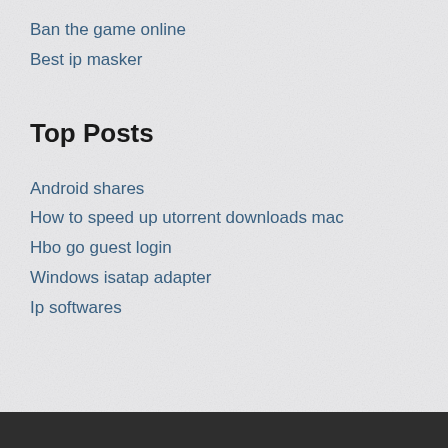Ban the game online
Best ip masker
Top Posts
Android shares
How to speed up utorrent downloads mac
Hbo go guest login
Windows isatap adapter
Ip softwares